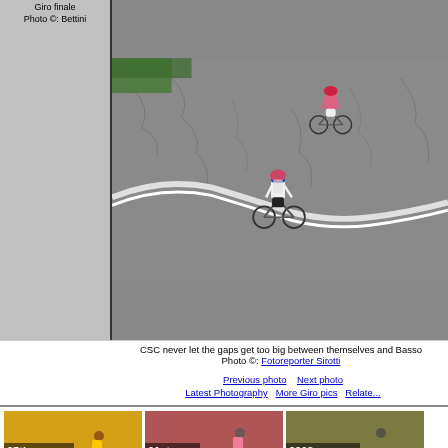Giro finale
Photo ©: Bettini
[Figure (photo): Aerial view of two cyclists on a road course during the Giro d'Italia finale]
CSC never let the gaps get too big between themselves and Basso
Photo ©: Fotoreporter Sirotti
Previous photo   Next photo
Latest Photography   More Giro pics   Related...
[Figure (photo): 95th Tour de France thumbnail]
[Figure (photo): 91st Giro d'Italia thumbnail]
[Figure (photo): 2008 Spring Classics thumbnail]
[Figure (photo): 63rd Vuelta a España thumbnail]
[Figure (photo): World Championships thumbnail]
[Figure (photo): 2008 USA Crits thumbnail]
[Figure (photo): 2008 thumbnail (partial)]